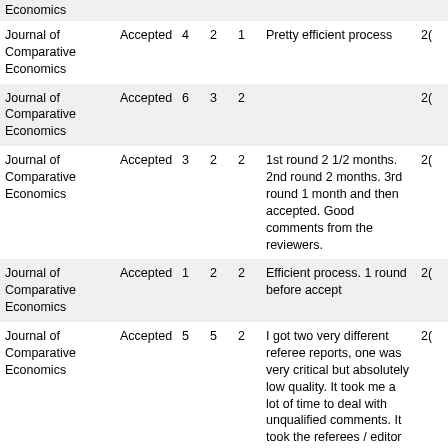| Journal | Status |  |  |  | Comment |  |
| --- | --- | --- | --- | --- | --- | --- |
| Economics |  |  |  |  |  |  |
| Journal of Comparative Economics | Accepted | 4 | 2 | 1 | Pretty efficient process | 20 |
| Journal of Comparative Economics | Accepted | 6 | 3 | 2 |  | 20 |
| Journal of Comparative Economics | Accepted | 3 | 2 | 2 | 1st round 2 1/2 months. 2nd round 2 months. 3rd round 1 month and then accepted. Good comments from the reviewers. | 20 |
| Journal of Comparative Economics | Accepted | 1 | 2 | 2 | Efficient process. 1 round before accept | 20 |
| Journal of Comparative Economics | Accepted | 5 | 5 | 2 | I got two very different referee reports, one was very critical but absolutely low quality. It took me a lot of time to deal with unqualified comments. It took the referees / editor 5 months to look at my revised script to then just accept it without any further comments. A stronger editor could have handled the submission more efficiently also pointing out the weakness of the 2nd report. | 20 |
|  |  |  |  |  | Longish time to first |  |